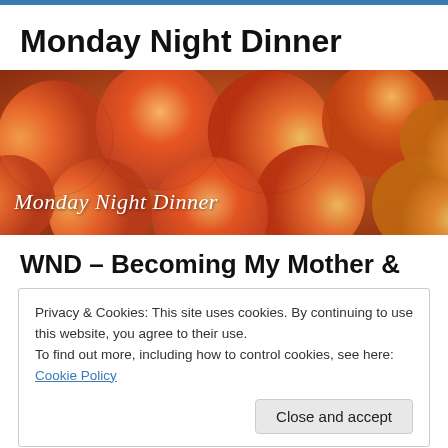Monday Night Dinner
[Figure (photo): Banner photo of peaches piled together with italic text overlay reading 'Monday Night Dinner']
WND – Becoming My Mother &
Privacy & Cookies: This site uses cookies. By continuing to use this website, you agree to their use.
To find out more, including how to control cookies, see here: Cookie Policy
Close and accept
[Figure (photo): Partial bottom image showing red pomegranate seeds]